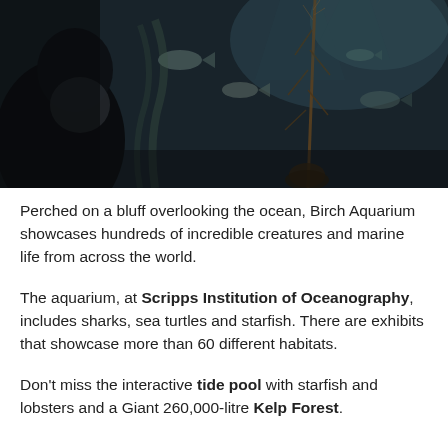[Figure (photo): Dark underwater aquarium scene showing a person (silhouette) looking at fish and a kelp or plant specimen hanging vertically in the water, with fish visible in the background.]
Perched on a bluff overlooking the ocean, Birch Aquarium showcases hundreds of incredible creatures and marine life from across the world.
The aquarium, at Scripps Institution of Oceanography, includes sharks, sea turtles and starfish. There are exhibits that showcase more than 60 different habitats.
Don't miss the interactive tide pool with starfish and lobsters and a Giant 260,000-litre Kelp Forest.